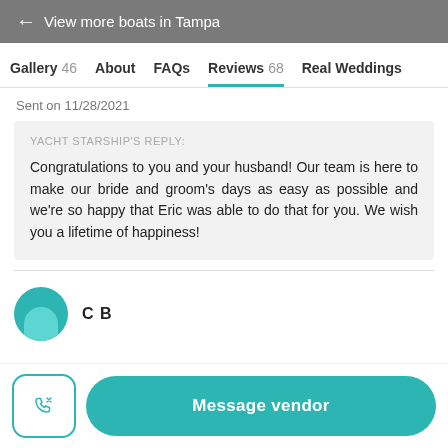← View more boats in Tampa
Gallery 46   About   FAQs   Reviews 68   Real Weddings
Sent on 11/28/2021
YACHT STARSHIP'S REPLY:
Congratulations to you and your husband! Our team is here to make our bride and groom's days as easy as possible and we're so happy that Eric was able to do that for you. We wish you a lifetime of happiness!
C B
Message vendor